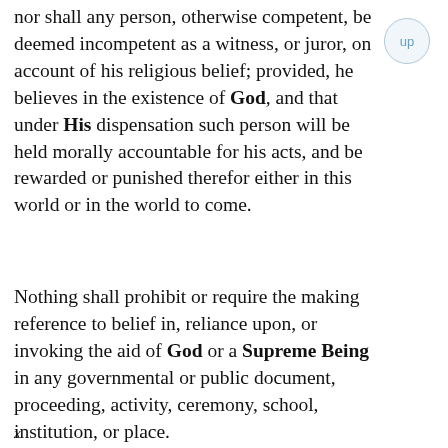nor shall any person, otherwise competent, be deemed incompetent as a witness, or juror, on account of his religious belief; provided, he believes in the existence of God, and that under His dispensation such person will be held morally accountable for his acts, and be rewarded or punished therefor either in this world or in the world to come.
Nothing shall prohibit or require the making reference to belief in, reliance upon, or invoking the aid of God or a Supreme Being in any governmental or public document, proceeding, activity, ceremony, school, institution, or place.
x